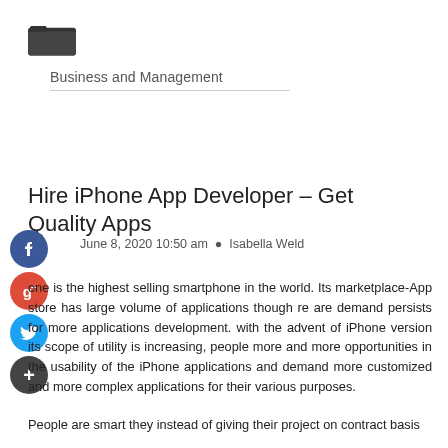[Figure (illustration): Open folder icon (dark/black) in top-left corner]
Business and Management
Hire iPhone App Developer – Get Quality Apps
June 8, 2020 10:50 am  Isabella Weld
[Figure (illustration): Social sharing buttons: Facebook (blue), Google+ (red), Twitter (blue), Plus/Add (dark gray)]
...one is the highest selling smartphone in the world. Its marketplace-App store has large volume of applications though there are demand persists for more applications development. with the advent of iPhone version its scope of utility is increasing, people more and more opportunities in the usability of the iPhone applications and demand more customized and more complex applications for their various purposes.
People are smart they instead of giving their project on contract basis